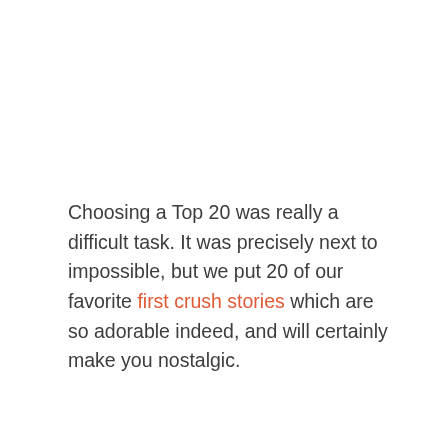Choosing a Top 20 was really a difficult task. It was precisely next to impossible, but we put 20 of our favorite first crush stories which are so adorable indeed, and will certainly make you nostalgic.